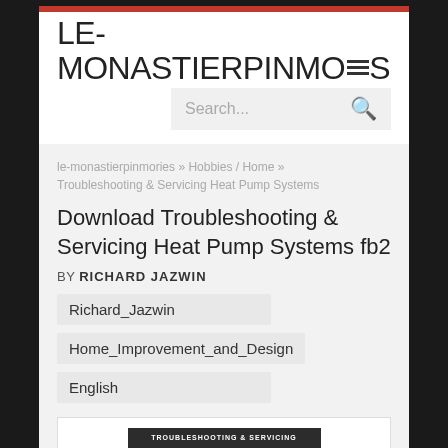LE-MONASTIERPINMORIES
Search...
le-monastierpinmories » Hobbies / Home » Troubleshooting & Servicing Heat Pump Systems
Download Troubleshooting & Servicing Heat Pump Systems fb2
BY RICHARD JAZWIN
Richard_Jazwin
Home_Improvement_and_Design
English
[Figure (screenshot): Book cover preview showing 'Home Improvement & Design' on a dark background with red banner and orange arrow]